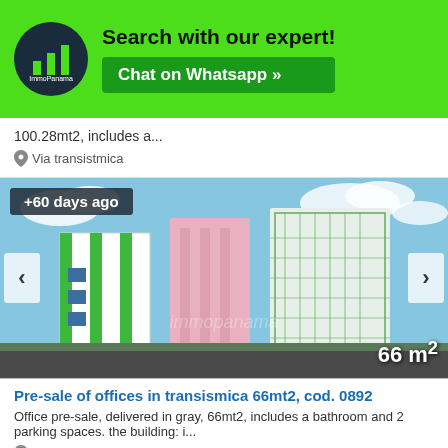[Figure (screenshot): ImmoPanama logo with bar chart icon on dark circle background, green banner with 'Search with our expert!' heading and 'Chat on Whatsapp »' green button]
100.28mt2, includes a...
Via transistmica
[Figure (photo): Architectural rendering of modern office towers in transismica area, colorful buildings with green and pink facades, +60 days ago badge, 66 m² label]
Pre-sale of offices in transismica 66mt2, cod. 0892
Office pre-sale, delivered in gray, 66mt2, includes a bathroom and 2 parking spaces. the building: i...
Via transistmica
[Figure (photo): Partial view of another property listing with +60 days ago badge, architectural rendering similar buildings]